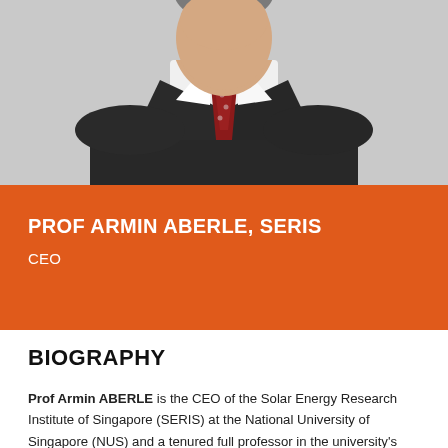[Figure (photo): Headshot of Prof Armin Aberle wearing a dark suit and red tie, photographed from the chest up against a light grey background.]
PROF ARMIN ABERLE, SERIS
CEO
BIOGRAPHY
Prof Armin ABERLE is the CEO of the Solar Energy Research Institute of Singapore (SERIS) at the National University of Singapore (NUS) and a tenured full professor in the university's Department of Electrical and Computer Engineering. He holds BSc/MSc, PhD and Dr habil degrees in physics from German universities. His research focus is on